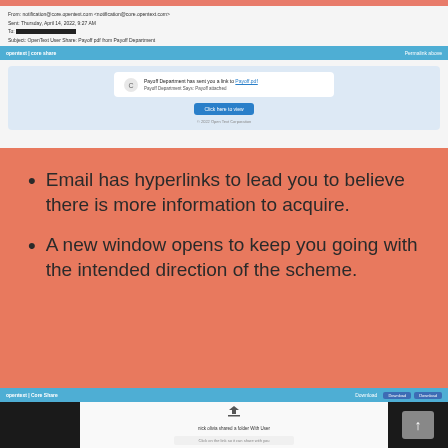[Figure (screenshot): Email client screenshot showing an email from notification@core.opentext.com with a link to Payoff.pdf, labeled 'Payoff Department has sent you a link to Payoff.pdf', with a 'Click here to view' button.]
Email has hyperlinks to lead you to believe there is more information to acquire.
A new window opens to keep you going with the intended direction of the scheme.
[Figure (screenshot): Bottom screenshot showing an OpenText interface with a share/download notification and dark sidebars with an up arrow button.]